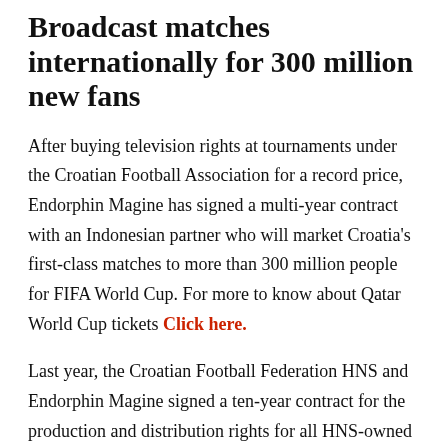Broadcast matches internationally for 300 million new fans
After buying television rights at tournaments under the Croatian Football Association for a record price, Endorphin Magine has signed a multi-year contract with an Indonesian partner who will market Croatia's first-class matches to more than 300 million people for FIFA World Cup. For more to know about Qatar World Cup tickets Click here.
Last year, the Croatian Football Federation HNS and Endorphin Magine signed a ten-year contract for the production and distribution rights for all HNS-owned games, starting in the 2022/23 competition year.